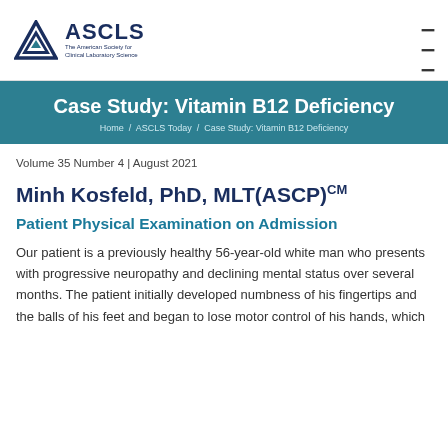[Figure (logo): ASCLS logo with triangle icon and text 'The American Society for Clinical Laboratory Science']
Case Study: Vitamin B12 Deficiency
Home / ASCLS Today / Case Study: Vitamin B12 Deficiency
Volume 35 Number 4 | August 2021
Minh Kosfeld, PhD, MLT(ASCP)CM
Patient Physical Examination on Admission
Our patient is a previously healthy 56-year-old white man who presents with progressive neuropathy and declining mental status over several months. The patient initially developed numbness of his fingertips and the balls of his feet and began to lose motor control of his hands, which